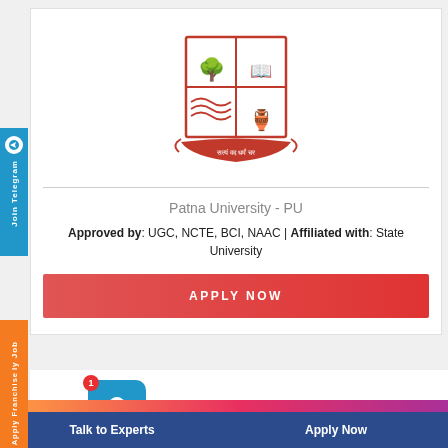[Figure (logo): Patna University crest/coat of arms in red and white]
Patna University - PU
Approved by: UGC, NCTE, BCI, NAAC | Affiliated with: State University
APPLY NOW
[Figure (illustration): User avatar icon with notification badge showing 1]
PhD Assistance | Thesis writing
Talk to Experts
Apply Now